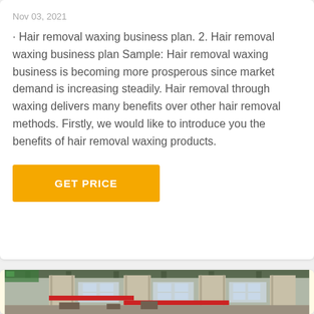Nov 03, 2021
· Hair removal waxing business plan. 2. Hair removal waxing business plan Sample: Hair removal waxing business is becoming more prosperous since market demand is increasing steadily. Hair removal through waxing delivers many benefits over other hair removal methods. Firstly, we would like to introduce you the benefits of hair removal waxing products.
GET PRICE
[Figure (photo): Interior of an industrial factory or warehouse with large concrete columns, steel structures, and red safety markings on equipment.]